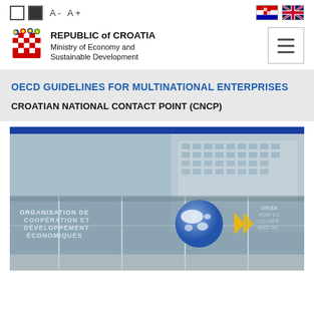Contrast controls: white, black; Font size: A- A+; Flags: Croatian, UK
[Figure (logo): Republic of Croatia coat of arms logo with text: REPUBLIC of CROATIA, Ministry of Economy and Sustainable Development]
OECD GUIDELINES FOR MULTINATIONAL ENTERPRISES
CROATIAN NATIONAL CONTACT POINT (CNCP)
[Figure (photo): Photo of OECD headquarters building entrance with glass doors showing ORGANISATION DE COOPERATION ET DEVELOPPEMENT ECONOMIQUES text and the OECD globe logo]